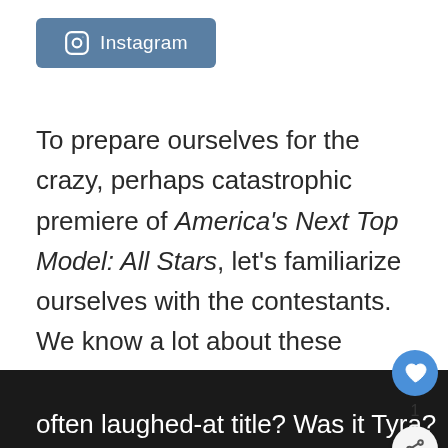[Figure (logo): Instagram button with Instagram icon and text 'Instagram' on a steel-blue rounded rectangle background]
To prepare ourselves for the crazy, perhaps catastrophic premiere of America's Next Top Model: All Stars, let's familiarize ourselves with the contestants. We know a lot about these ladies from their time on the show, but what have they accomplished since then? What mysterious mystical force convinced them to take another shot at the much-coveted and often laughed-at title? Was it Tyra?